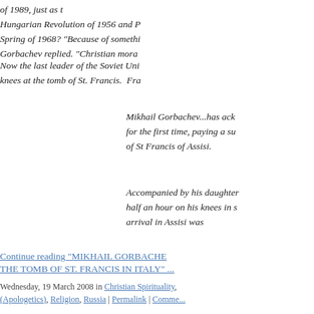of 1989, just as the Hungarian Revolution of 1956 and Prague Spring of 1968? "Because of something," Gorbachev replied. "Christian moral...
Now the last leader of the Soviet Union kneels at the tomb of St. Francis. Fra...
Mikhail Gorbachev...has ack... for the first time, paying a su... of St Francis of Assisi.
Accompanied by his daughter... half an hour on his knees in s... arrival in Assisi was
Continue reading "MIKHAIL GORBACHEV AT THE TOMB OF ST. FRANCIS IN ITALY" ...
Wednesday, 19 March 2008 in Christian Spirituality, (Apologetics), Religion, Russia | Permalink | Comments
HOLY WEEK READING - "THE MAN B... SAYERS
A year ago I put up a post mentioning that C... it a practice during Holy Week to re-read th...